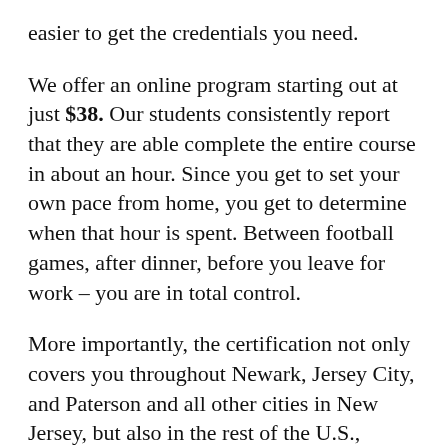easier to get the credentials you need.
We offer an online program starting out at just $38. Our students consistently report that they are able complete the entire course in about an hour. Since you get to set your own pace from home, you get to determine when that hour is spent. Between football games, after dinner, before you leave for work – you are in total control.
More importantly, the certification not only covers you throughout Newark, Jersey City, and Paterson and all other cities in New Jersey, but also in the rest of the U.S., Canada and Mexico. That means that if you have to move to find the best opportunity, you're still covered for the entire three